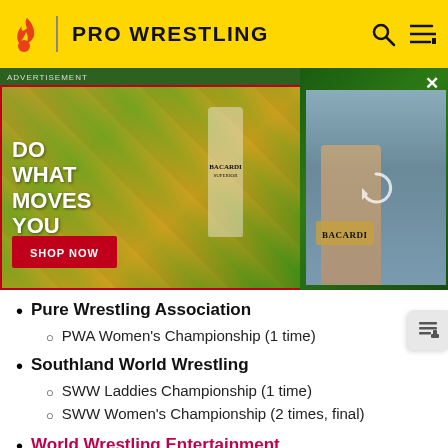PRO WRESTLING
[Figure (photo): Bacardi advertisement banner with tropical fruits (pineapples, papaya, watermelons) and a Bacardi rum bottle. Text reads: DO WHAT MOVES YOU with a SHOP NOW button. Secondary panel shows a Bacardi bottle being held with a reload icon overlay.]
Pure Wrestling Association
PWA Women's Championship (1 time)
Southland World Wrestling
SWW Laddies Championship (1 time)
SWW Women's Championship (2 times, final)
World Wrestling Entertainment
WWE Women's Tag Team Championship (1 time, Current) with Raquel Rodriguez